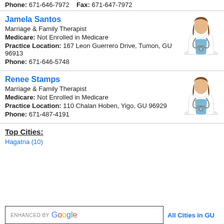Phone: 671-646-7972    Fax: 671-647-7972
Jamela Santos
Marriage & Family Therapist
Medicare: Not Enrolled in Medicare
Practice Location: 167 Leon Guerrero Drive, Tumon, GU 96913
Phone: 671-646-5748
[Figure (illustration): Generic female doctor avatar illustration with stethoscope]
Renee Stamps
Marriage & Family Therapist
Medicare: Not Enrolled in Medicare
Practice Location: 110 Chalan Hoben, Yigo, GU 96929
Phone: 671-487-4191
[Figure (illustration): Generic female doctor avatar illustration with stethoscope]
Top Cities:
Hagatna (10)
ENHANCED BY Google
All Cities in GU